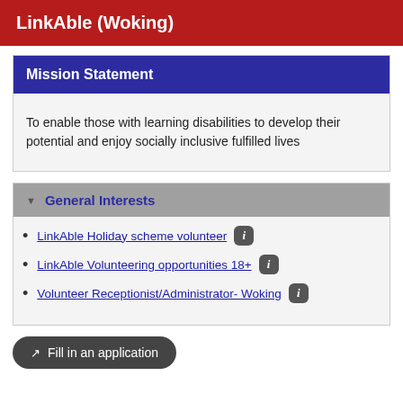LinkAble (Woking)
Mission Statement
To enable those with learning disabilities to develop their potential and enjoy socially inclusive fulfilled lives
General Interests
LinkAble Holiday scheme volunteer
LinkAble Volunteering opportunities 18+
Volunteer Receptionist/Administrator- Woking
Fill in an application